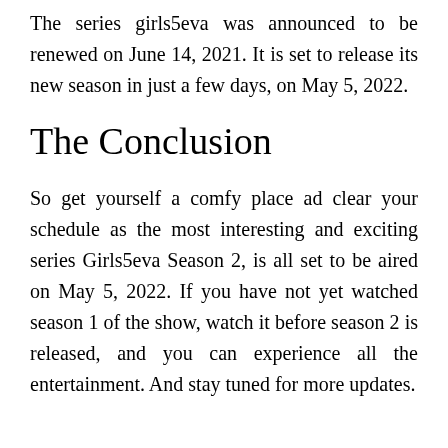The series girls5eva was announced to be renewed on June 14, 2021. It is set to release its new season in just a few days, on May 5, 2022.
The Conclusion
So get yourself a comfy place ad clear your schedule as the most interesting and exciting series Girls5eva Season 2, is all set to be aired on May 5, 2022. If you have not yet watched season 1 of the show, watch it before season 2 is released, and you can experience all the entertainment. And stay tuned for more updates.